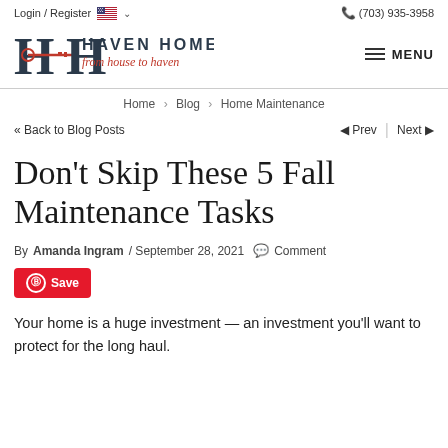Login / Register  (703) 935-3958
[Figure (logo): Haven Homes logo with a large serif H, a horizontal key graphic in red/copper, text HAVEN HOMES and tagline 'from house to haven']
Home > Blog > Home Maintenance
<< Back to Blog Posts   Prev | Next
Don't Skip These 5 Fall Maintenance Tasks
By Amanda Ingram / September 28, 2021 Comment
Save
Your home is a huge investment — an investment you'll want to protect for the long haul.